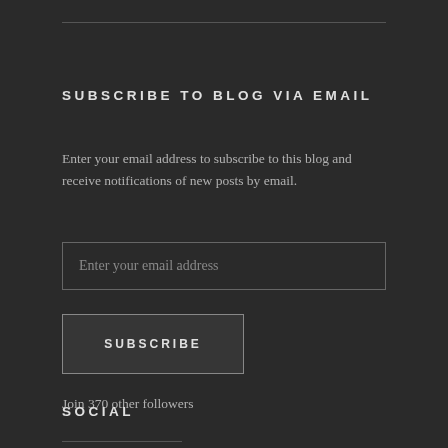SUBSCRIBE TO BLOG VIA EMAIL
Enter your email address to subscribe to this blog and receive notifications of new posts by email.
Enter your email address
SUBSCRIBE
Join 370 other followers
SOCIAL